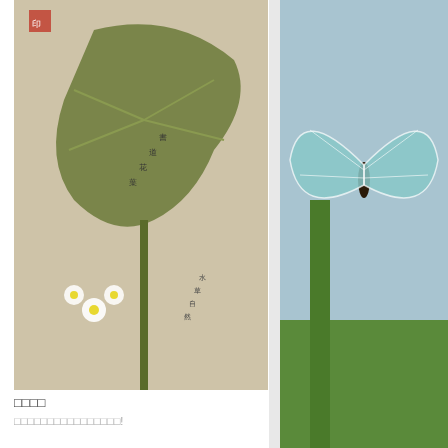[Figure (photo): Asian botanical painting showing large green lotus/taro leaf with white flowers and calligraphy text on aged paper background]
□□□□
□□□□□□□□□□□□□□□□
More »
Published on 6□ 11, 2014 1:42 PM.
Filed under: dego , Ocha
Author: dego
[Figure (photo): Close-up photo of a butterfly wing on a green leaf, showing detailed wing pattern with teal/white coloring]
93rd dego film p
More »
Published on 5□ 23, 20…
Filed under: Photo Co…
Author: dego
[Figure (photo): Black and white or muted photo, partially visible at bottom of page]